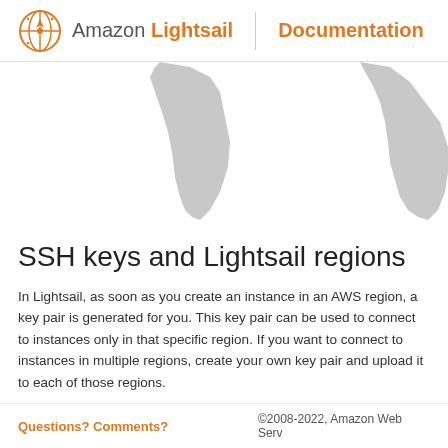Amazon Lightsail | Documentation
[Figure (map): Partial world map showing South America and Africa landmasses in gray on white background]
SSH keys and Lightsail regions
In Lightsail, as soon as you create an instance in an AWS region, a key pair is generated for you. This key pair can be used to connect to instances only in that specific region. If you want to connect to instances in multiple regions, create your own key pair and upload it to each of those regions.
For more information, see SSH and connecting to your Lightsail instance.
Questions? Comments?  ©2008-2022, Amazon Web Services, Inc. or its affiliates.